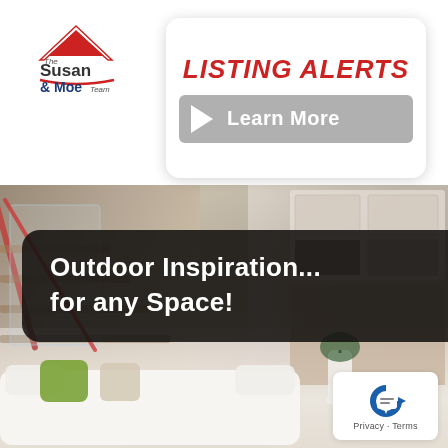[Figure (logo): The Susan & Moe Team real estate logo with red roof icon]
LISTING ALERTS
Learn More
[Figure (photo): Interior home photo showing modern staircase with glass railing on left, kitchen with white cabinets on right, and white sofa with green cushions in foreground]
Outdoor Inspiration... for any Space!
[Figure (logo): Privacy/Terms badge with C icon]